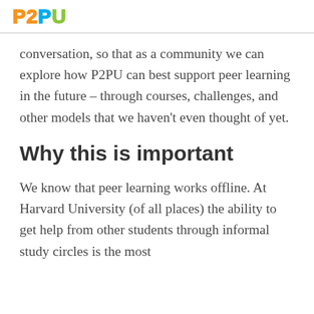P2PU
conversation, so that as a community we can explore how P2PU can best support peer learning in the future – through courses, challenges, and other models that we haven't even thought of yet.
Why this is important
We know that peer learning works offline. At Harvard University (of all places) the ability to get help from other students through informal study circles is the most